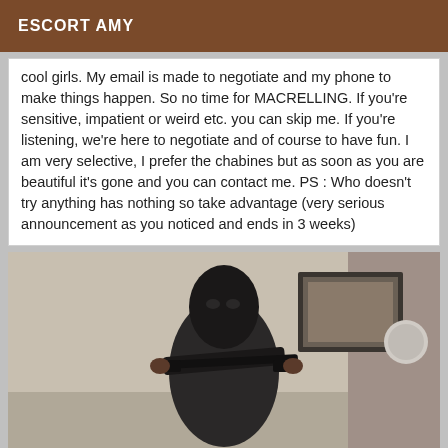ESCORT AMY
cool girls. My email is made to negotiate and my phone to make things happen. So no time for MACRELLING. If you're sensitive, impatient or weird etc. you can skip me. If you're listening, we're here to negotiate and of course to have fun. I am very selective, I prefer the chabines but as soon as you are beautiful it's gone and you can contact me. PS : Who doesn't try anything has nothing so take advantage (very serious announcement as you noticed and ends in 3 weeks)
[Figure (photo): Person wearing a black ski mask and dark outfit, holding a stick/baton, standing in a room with a framed picture on the wall in the background.]